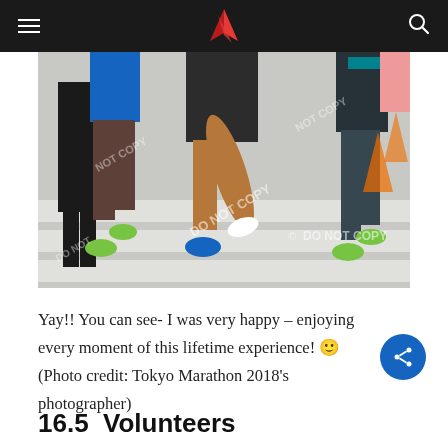Navigation bar with hamburger menu, logo, and search icon
[Figure (photo): Close-up photo of marathon runners' legs and feet on a crosswalk during a race. Runners wear colorful shorts and shoes including blue, green, and black. Watermark reads 'DO NOT COPY'.]
Yay!! You can see- I was very happy – enjoying every moment of this lifetime experience! 🙂 (Photo credit: Tokyo Marathon 2018's photographer)
16.5  Volunteers